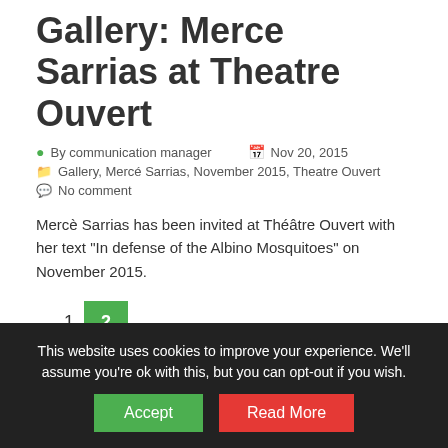Gallery: Merce Sarrias at Theatre Ouvert
By communication manager   Nov 20, 2015
Gallery, Mercé Sarrias, November 2015, Theatre Ouvert
No comment
Mercè Sarrias has been invited at Théâtre Ouvert with her text "In defense of the Albino Mosquitoes" on November 2015.
1  2
Categories
This website uses cookies to improve your experience. We'll assume you're ok with this, but you can opt-out if you wish.